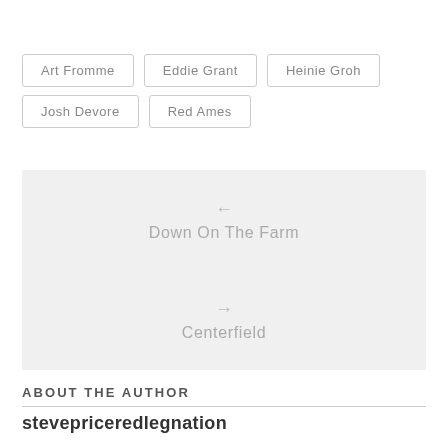Art Fromme
Eddie Grant
Heinie Groh
Josh Devore
Red Ames
[Figure (infographic): Navigation panel with two items: arrow left pointing to 'Down On The Farm', and arrow right pointing to 'Centerfield']
ABOUT THE AUTHOR
stevepriceredlegnation